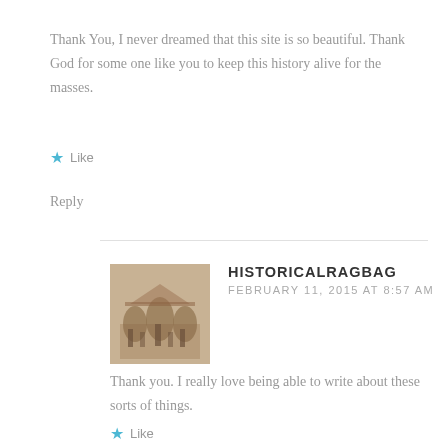Thank You, I never dreamed that this site is so beautiful. Thank God for some one like you to keep this history alive for the masses.
★ Like
Reply
HISTORICALRAGBAG
FEBRUARY 11, 2015 AT 8:57 AM
Thank you. I really love being able to write about these sorts of things.
★ Like